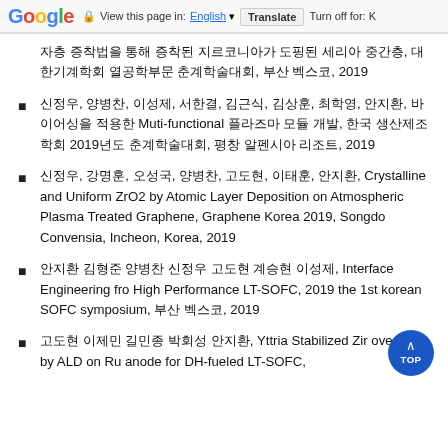Google | View this page in: English | Translate | Turn off for: K
자층 증착법을 통해 증착된 지르코니아가 도핑된 세리아 중간층, 대한기계학회 열공학부문 춘계학술대회, 부산 벡스코, 2019
신정우, 양병찬, 이성제, 서한결, 김근식, 김상훈, 최학영, 안지환, 바이어싱을 적용한 Muti-functional 플라즈마 모듈 개발, 한국 생산제조학회 2019년도 춘계학술대회, 평창 알펜시아 리조트, 2019
신정우, 강명훈, 오성국, 양병찬, 고도현, 이태훈, 안지환, Crystalline and Uniform ZrO2 by Atomic Layer Deposition on Atmospheric Plasma Treated Graphene, Graphene Korea 2019, Songdo Convensia, Incheon, Korea, 2019
안지환 김형준 양병찬 신정우 고도현 계승현 이성제, Interface Engineering fro High Performance LT-SOFC, 2019 the 1st korean SOFC symposium, 부산 벡스코, 2019
고도현 이제민 길민종 박회성 안지환, Yttria Stabilized Zir overlayer by ALD on Ru anode for DH-fueled LT-SOFC,